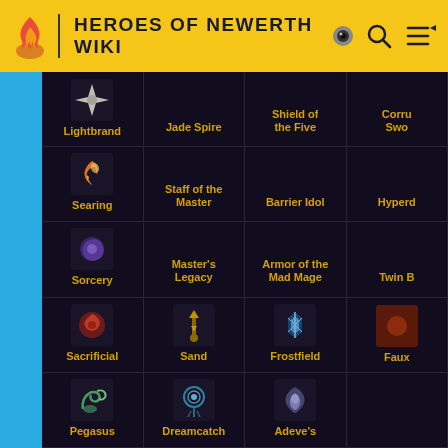HEROES OF NEWERTH WIKI
| Col1 | Col2 | Col3 | Col4 |
| --- | --- | --- | --- |
| Lightbrand | Jade Spire | Shield of the Five | Corru Swo |
| Searing Light | Staff of the Master | Barrier Idol | Hyperd |
| Sorcery Boots | Master's Legacy | Armor of the Mad Mage | Twin B |
| Sacrificial Stone | Sand Scepter | Frostfield Plate | Faux |
| Pegasus Boots | Dreamcatcher | Adeve's Cloak |  |